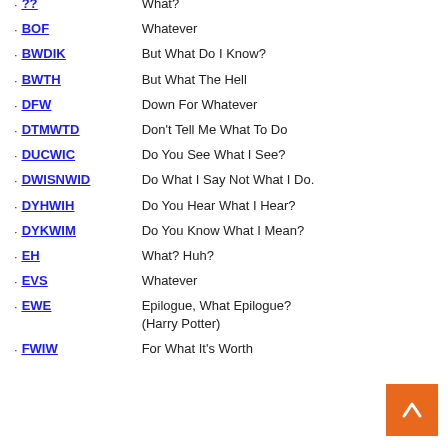?? — What?
BOF — Whatever
BWDIK — But What Do I Know?
BWTH — But What The Hell
DFW — Down For Whatever
DTMWTD — Don't Tell Me What To Do
DUCWIC — Do You See What I See?
DWISNWID — Do What I Say Not What I Do.
DYHWIH — Do You Hear What I Hear?
DYKWIM — Do You Know What I Mean?
EH — What? Huh?
EVS — Whatever
EWE — Epilogue, What Epilogue? (Harry Potter)
FWIW — For What It's Worth